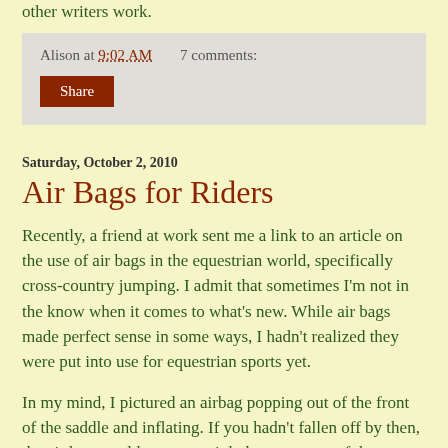other writers work.
Alison at 9:02 AM    7 comments:
Share
Saturday, October 2, 2010
Air Bags for Riders
Recently, a friend at work sent me a link to an article on the use of air bags in the equestrian world, specifically cross-country jumping. I admit that sometimes I'm not in the know when it comes to what's new. While air bags made perfect sense in some ways, I hadn't realized they were put into use for equestrian sports yet.
In my mind, I pictured an airbag popping out of the front of the saddle and inflating. If you hadn't fallen off by then, the air bag would most certainly boot you out of the seat. Maybe not such a hot idea after all.